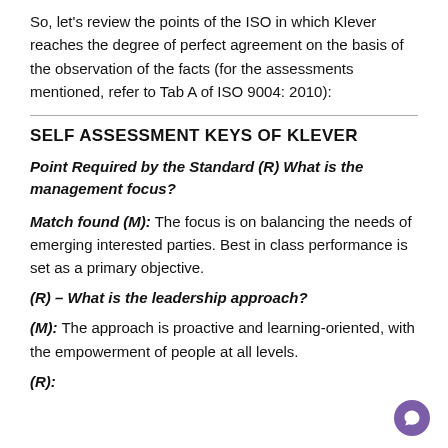So, let's review the points of the ISO in which Klever reaches the degree of perfect agreement on the basis of the observation of the facts (for the assessments mentioned, refer to Tab A of ISO 9004: 2010):
SELF ASSESSMENT KEYS OF KLEVER
Point Required by the Standard (R) What is the management focus?
Match found (M): The focus is on balancing the needs of emerging interested parties. Best in class performance is set as a primary objective.
(R) – What is the leadership approach?
(M): The approach is proactive and learning-oriented, with the empowerment of people at all levels.
(R):